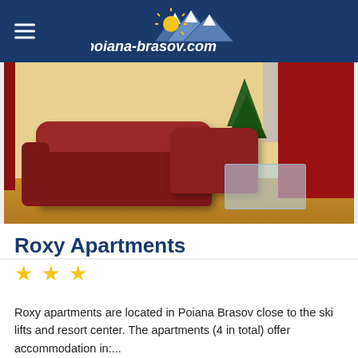poiana-brasov.com
[Figure (photo): Interior photo of Roxy Apartments showing a living room with red/brown sofas, glass coffee table, wooden floor, red curtains, and a Christmas tree in the background]
Roxy Apartments
★★★
Roxy apartments are located in Poiana Brasov close to the ski lifts and resort center. The apartments (4 in total) offer accommodation in:...
Acest hotel nu are introduse tarife sau nu mai are